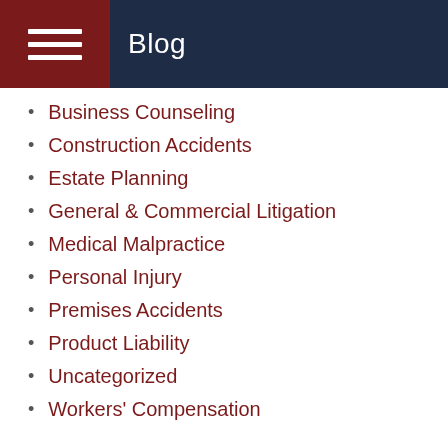Blog
Business Counseling
Construction Accidents
Estate Planning
General & Commercial Litigation
Medical Malpractice
Personal Injury
Premises Accidents
Product Liability
Uncategorized
Workers' Compensation
ARCHIVES
2022
2021
2020
2019